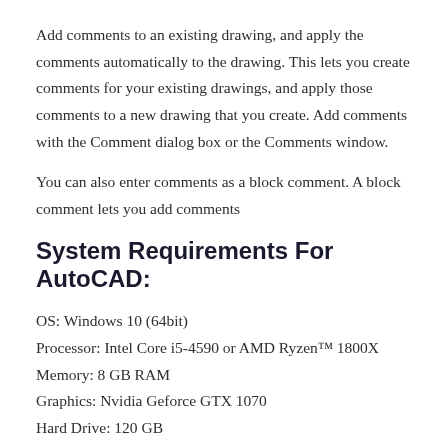Add comments to an existing drawing, and apply the comments automatically to the drawing. This lets you create comments for your existing drawings, and apply those comments to a new drawing that you create. Add comments with the Comment dialog box or the Comments window.
You can also enter comments as a block comment. A block comment lets you add comments
System Requirements For AutoCAD:
OS: Windows 10 (64bit)
Processor: Intel Core i5-4590 or AMD Ryzen™ 1800X
Memory: 8 GB RAM
Graphics: Nvidia Geforce GTX 1070
Hard Drive: 120 GB
DirectX: Version 11